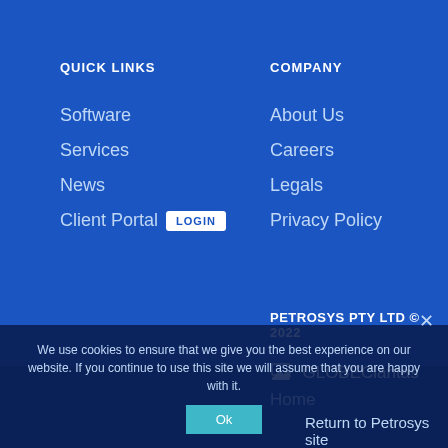QUICK LINKS
Software
Services
News
Client Portal LOGIN
COMPANY
About Us
Careers
Legals
Privacy Policy
PETROSYS PTY LTD © 2022
GLOBEClaritas
Home
Return to Petrosys site
We use cookies to ensure that we give you the best experience on our website. If you continue to use this site we will assume that you are happy with it.
Ok